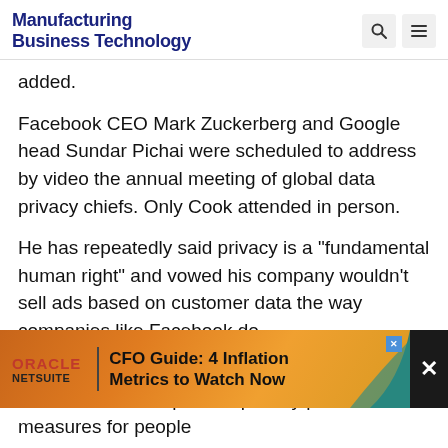Manufacturing Business Technology
added.
Facebook CEO Mark Zuckerberg and Google head Sundar Pichai were scheduled to address by video the annual meeting of global data privacy chiefs. Only Cook attended in person.
He has repeatedly said privacy is a "fundamental human right" and vowed his company wouldn't sell ads based on customer data the way companies like Facebook do.
His speech comes a week after the iPhone maker unveiled expanded privacy protection measures for people... New Zealan... d all
[Figure (other): Oracle NetSuite advertisement banner: CFO Guide: 4 Inflation Metrics to Watch Now]